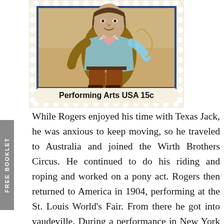[Figure (illustration): A U.S. postage stamp depicting Will Rogers on a Performing Arts USA 15c stamp. Shows a man in cowboy attire. Blue border, perforated edges, tan/orange color scheme.]
While Rogers enjoyed his time with Texas Jack, he was anxious to keep moving, so he traveled to Australia and joined the Wirth Brothers Circus. He continued to do his riding and roping and worked on a pony act. Rogers then returned to America in 1904, performing at the St. Louis World's Fair. From there he got into vaudeville. During a performance in New York City, Rogers roped a steer that had broken free and climbed into the viewing stand. The story became front-page news, helping to make him more famous. He worked in vaudeville for the next 10 years. During this time he married and fathered four children, one of whom would become a World War II hero and later play his father in two movies.